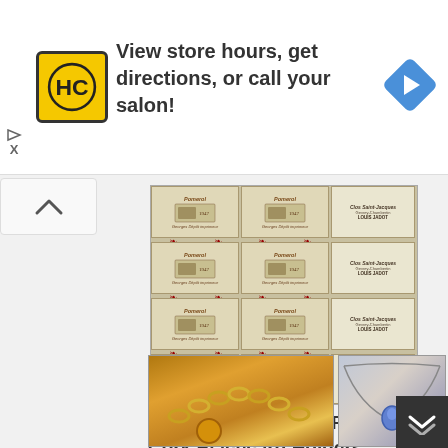[Figure (screenshot): Advertisement banner for Haircuttery (HC logo in yellow) with text 'View store hours, get directions, or call your salon!' and a blue navigation arrow icon on the right. Small play and X icons on the left below.]
[Figure (photo): Grid of vintage wine bottle labels - Pomerol labels on left two columns and Clos Saint-Jacques labels on right column, arranged in 4 rows]
36+ Fascinating Diy Recycled Cork Placecard Holders ...
[Figure (photo): Close-up photo of gold chain necklace]
[Figure (photo): Close-up photo of a wire necklace with a blue pendant/gem]